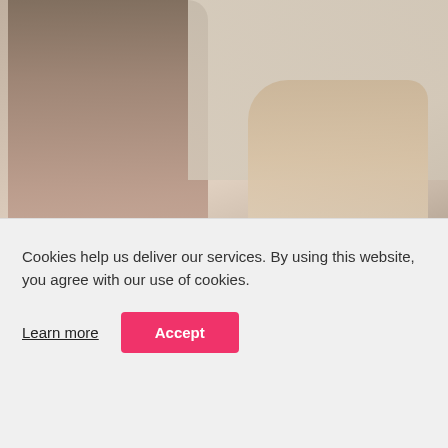[Figure (screenshot): Video thumbnail showing two people, duration timestamp 27:56 in bottom-left corner]
Julia – the instant cock raising machine !
245K  94%
[Figure (screenshot): Partial video thumbnail of second video]
Cookies help us deliver our services. By using this website, you agree with our use of cookies.
Learn more  Accept